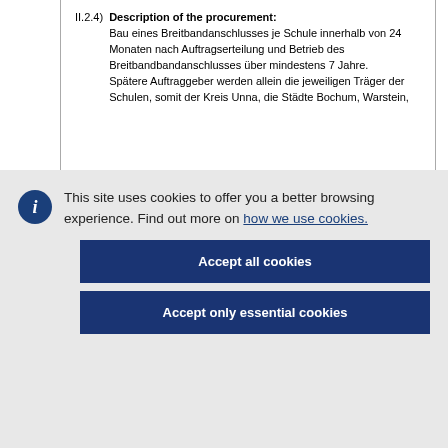II.2.4) Description of the procurement: Bau eines Breitbandanschlusses je Schule innerhalb von 24 Monaten nach Auftragserteilung und Betrieb des Breitbandbandanschlusses über mindestens 7 Jahre. Spätere Auftraggeber werden allein die jeweiligen Träger der Schulen, somit der Kreis Unna, die Städte Bochum, Warstein,
This site uses cookies to offer you a better browsing experience. Find out more on how we use cookies.
Accept all cookies
Accept only essential cookies